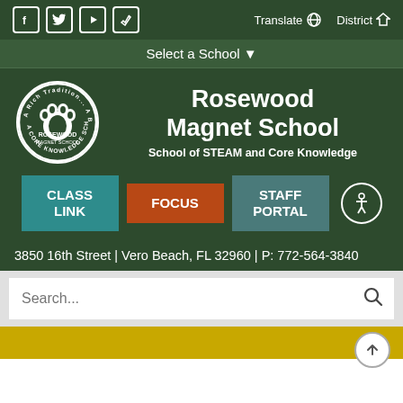[Figure (screenshot): School website header with social media icons (Facebook, Twitter, YouTube, email), Translate and District navigation buttons]
Select a School ▼
[Figure (logo): Rosewood Magnet School circular logo with paw print]
Rosewood Magnet School
School of STEAM and Core Knowledge
CLASS LINK
FOCUS
STAFF PORTAL
3850 16th Street | Vero Beach, FL 32960 | P: 772-564-3840
Search...